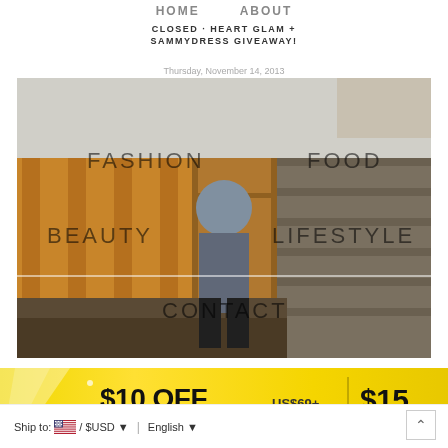HOME   ABOUT
CLOSED · HEART GLAM + SAMMYDRESS GIVEAWAY!
Thursday, November 14, 2013
[Figure (photo): Fashion blog photo of a young woman walking outdoors between a wooden fence and a grey wall, wearing a grey patterned sweater and black pants. Navigation menu overlaid: FASHION, FOOD, BEAUTY, LIFESTYLE, CONTACT]
[Figure (infographic): Promotional banner: $10 OFF US$69+ | $15 (truncated). Yellow gradient background with sparkles.]
Ship to: 🇺🇸 / $USD ▼  |  English ▼